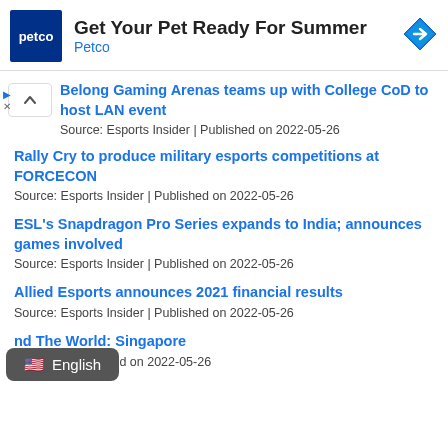[Figure (other): Petco advertisement banner with logo, headline 'Get Your Pet Ready For Summer', subtext 'Petco', and a blue diamond navigation icon]
Belong Gaming Arenas teams up with College CoD to host LAN event
Source: Esports Insider | Published on 2022-05-26
Rally Cry to produce military esports competitions at FORCECON
Source: Esports Insider | Published on 2022-05-26
ESL's Snapdragon Pro Series expands to India; announces games involved
Source: Esports Insider | Published on 2022-05-26
Allied Esports announces 2021 financial results
Source: Esports Insider | Published on 2022-05-26
...nd The World: Singapore
Source: ...s Insider | Published on 2022-05-26
[Figure (other): Language selector overlay showing US flag emoji and 'English' text on dark grey rounded rectangle background]